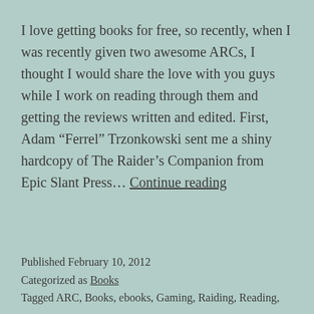I love getting books for free, so recently, when I was recently given two awesome ARCs, I thought I would share the love with you guys while I work on reading through them and getting the reviews written and edited. First, Adam “Ferrel” Trzonkowski sent me a shiny hardcopy of The Raider’s Companion from Epic Slant Press…. Continue reading
Published February 10, 2012
Categorized as Books
Tagged ARC, Books, ebooks, Gaming, Raiding, Reading,